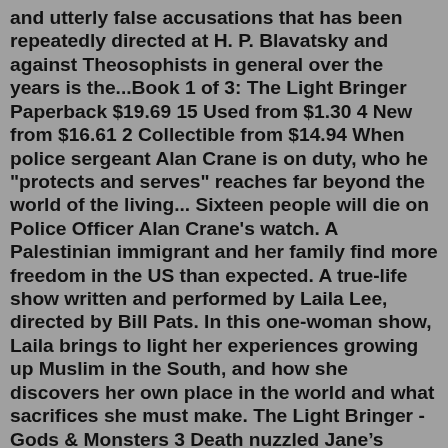and utterly false accusations that has been repeatedly directed at H. P. Blavatsky and against Theosophists in general over the years is the...Book 1 of 3: The Light Bringer Paperback $19.69 15 Used from $1.30 4 New from $16.61 2 Collectible from $14.94 When police sergeant Alan Crane is on duty, who he "protects and serves" reaches far beyond the world of the living... Sixteen people will die on Police Officer Alan Crane's watch. A Palestinian immigrant and her family find more freedom in the US than expected. A true-life show written and performed by Laila Lee, directed by Bill Pats. In this one-woman show, Laila brings to light her experiences growing up Muslim in the South, and how she discovers her own place in the world and what sacrifices she must make. The Light Bringer - Gods & Monsters 3 Death nuzzled Jane’s cheek before whispering in her ear, “This is the battle you fight alone, Sweet Jane. When we find each other, you will already have conquered the one who truly stopped you from being all you desired. Yourself.” He kissed her jaw. “Now give her all you are capable of